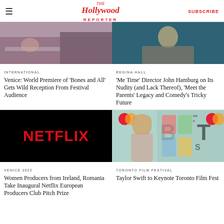The Hollywood Reporter | SUBSCRIBE
[Figure (photo): Movie still or event photo related to Bones and All film]
INTERNATIONAL
Venice: World Premiere of 'Bones and All' Gets Wild Reception From Festival Audience
[Figure (photo): Photo of Regina Hall or related film still with person in orange and teal clothing]
REGINA HALL
'Me Time' Director John Hamburg on Its Nudity (and Lack Thereof), 'Meet the Parents' Legacy and Comedy's Tricky Future
[Figure (photo): Netflix logo on black background]
VENICE 2022
Women Producers from Ireland, Romania Take Inaugural Netflix European Producers Club Pitch Prize
[Figure (photo): Taylor Swift at BRIT Awards with Mastercard branding in background]
TORONTO FILM FESTIVAL
Taylor Swift to Keynote Toronto Film Fest